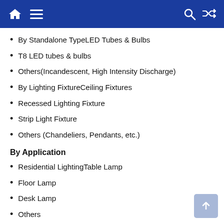Navigation bar with home, menu, search, and shuffle icons
By Standalone TypeLED Tubes & Bulbs
T8 LED tubes & bulbs
Others(Incandescent, High Intensity Discharge)
By Lighting FixtureCeiling Fixtures
Recessed Lighting Fixture
Strip Light Fixture
Others (Chandeliers, Pendants, etc.)
By Application
Residential LightingTable Lamp
Floor Lamp
Desk Lamp
Others
Commercial Lighting
Industrial Lighting